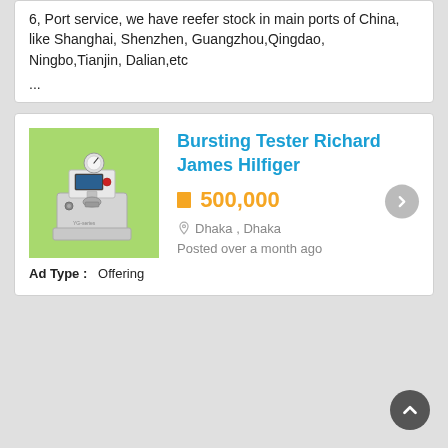6, Port service, we have reefer stock in main ports of China, like Shanghai, Shenzhen, Guangzhou,Qingdao, Ningbo,Tianjin, Dalian,etc
...
[Figure (photo): Product listing card showing a Bursting Tester machine (white industrial testing equipment on green background). Ad title: Bursting Tester Richard James Hilfiger. Price: ৳ 500,000. Location: Dhaka, Dhaka. Posted over a month ago. Ad Type: Offering.]
Bursting Tester Richard James Hilfiger
৳ 500,000
Dhaka , Dhaka
Posted over a month ago
Ad Type :   Offering